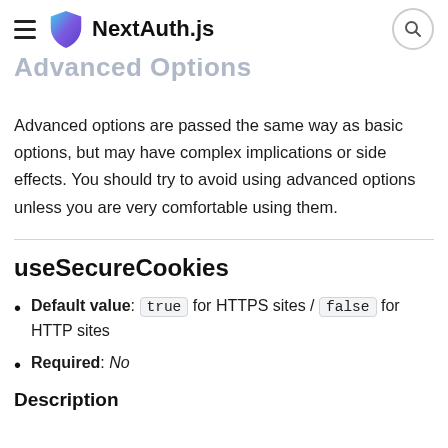NextAuth.js
Advanced Options
Advanced options are passed the same way as basic options, but may have complex implications or side effects. You should try to avoid using advanced options unless you are very comfortable using them.
useSecureCookies
Default value: true for HTTPS sites / false for HTTP sites
Required: No
Description